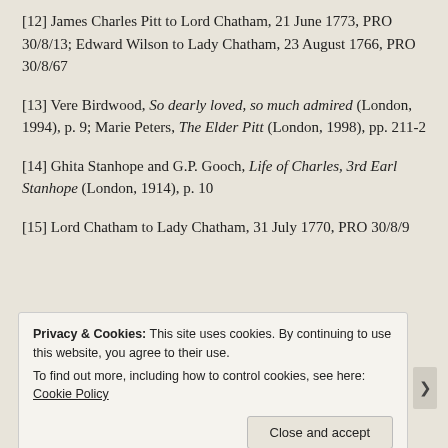[12] James Charles Pitt to Lord Chatham, 21 June 1773, PRO 30/8/13; Edward Wilson to Lady Chatham, 23 August 1766, PRO 30/8/67
[13] Vere Birdwood, So dearly loved, so much admired (London, 1994), p. 9; Marie Peters, The Elder Pitt (London, 1998), pp. 211-2
[14] Ghita Stanhope and G.P. Gooch, Life of Charles, 3rd Earl Stanhope (London, 1914), p. 10
[15] Lord Chatham to Lady Chatham, 31 July 1770, PRO 30/8/9
Privacy & Cookies: This site uses cookies. By continuing to use this website, you agree to their use. To find out more, including how to control cookies, see here: Cookie Policy